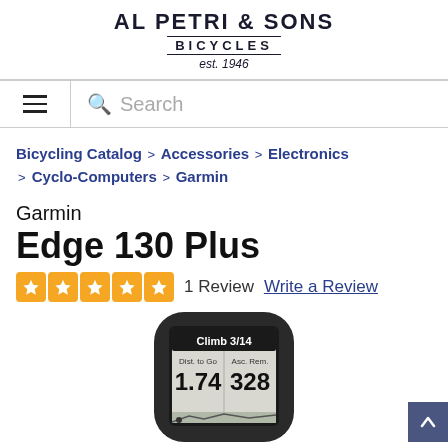[Figure (logo): Al Petri & Sons Bicycles logo, est. 1946]
Search
Bicycling Catalog > Accessories > Electronics > Cyclo-Computers > Garmin
Garmin Edge 130 Plus
1 Review  Write a Review
[Figure (photo): Garmin Edge 130 Plus cycling computer device showing screen with Climb 3/14, Dist. to Go 1.74, Asc. Rem. 328]